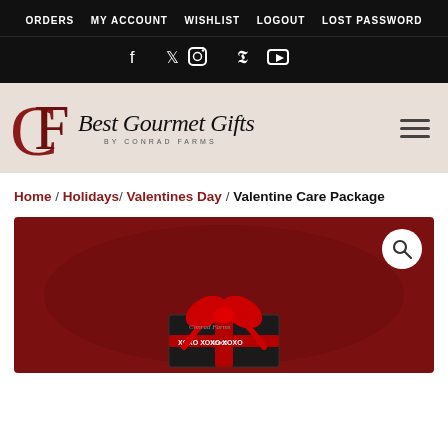ORDERS  MY ACCOUNT  WISHLIST  LOGOUT  LOST PASSWORD
[Figure (logo): Social media icons: Facebook, Twitter, Instagram, Pinterest, YouTube on black background]
[Figure (logo): Best Gourmet Gifts by Conrad Farms logo with CF monogram in red and black cursive script on beige background]
Home / Holidays / Valentines Day / Valentine Care Package
[Figure (photo): Valentine Care Package product photo on dark red background with a gift box tied with an XOXO red ribbon bow]